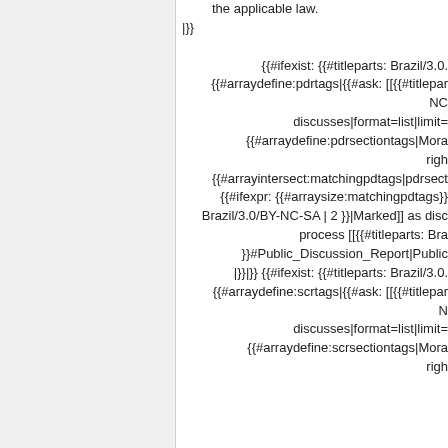the applicable law.
|}}
{{#ifexist: {{#titleparts: Brazil/3.0...
{{#arraydefine:pdrtags|{{#ask: [[{{#titlepar...
NC...
discusses|format=list|limit=...
{{#arraydefine:pdrsectiontags|Mora...
righ...
{{#arrayintersect:matchingpdtags|pdrsect...
{{#ifexpr: {{#arraysize:matchingpdtags}}...
Brazil/3.0/BY-NC-SA | 2 }}|Marked]] as disc...
process [[{{#titleparts: Bra...
}}#Public_Discussion_Report|Public...
|}}|}} {{#ifexist: {{#titleparts: Brazil/3.0...
{{#arraydefine:scrtags|{{#ask: [[{{#titlepar...
N...
discusses|format=list|limit=...
{{#arraydefine:scrsectiontags|Mora...
righ...